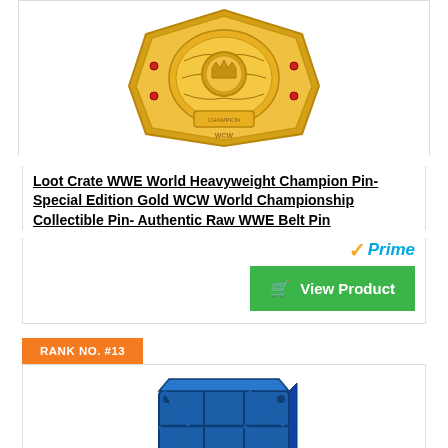[Figure (photo): Gold WWE World Heavyweight Championship belt pin product photo (top portion visible)]
Loot Crate WWE World Heavyweight Champion Pin- Special Edition Gold WCW World Championship Collectible Pin- Authentic Raw WWE Belt Pin
[Figure (logo): Amazon Prime badge with orange checkmark and blue italic 'Prime' text]
View Product
RANK NO. #13
[Figure (photo): Blue Fortnite loot crate / drop box product image (partially visible)]